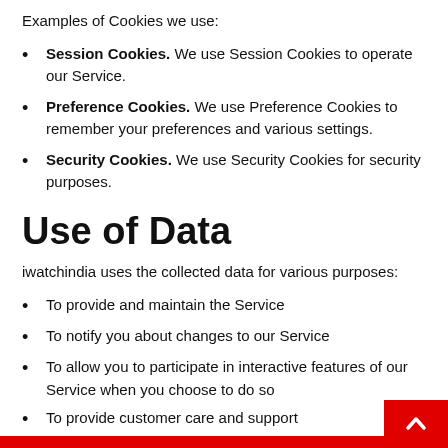Examples of Cookies we use:
Session Cookies. We use Session Cookies to operate our Service.
Preference Cookies. We use Preference Cookies to remember your preferences and various settings.
Security Cookies. We use Security Cookies for security purposes.
Use of Data
iwatchindia uses the collected data for various purposes:
To provide and maintain the Service
To notify you about changes to our Service
To allow you to participate in interactive features of our Service when you choose to do so
To provide customer care and support
To provide analysis or valuable information so that we